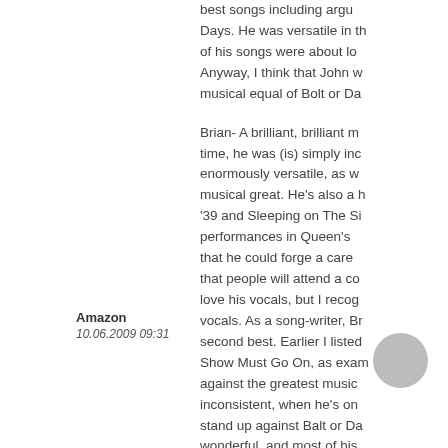best songs including argu Days. He was versatile in the of his songs were about lo Anyway, I think that John w musical equal of Bolt or Da
Brian- A brilliant, brilliant m time, he was (is) simply inc enormously versatile, as w musical great. He's also a h '39 and Sleeping on The Si performances in Queen's that he could forge a care that people will attend a co love his vocals, but I recog vocals. As a song-writer, Br second best. Earlier I liste Show Must Go On, as exam against the greatest music inconsistent, when he's on stand up against Balt or Da wonderful, and most of his awe-inspiring level of a Pr
Amazon
10.06.2009 09:31